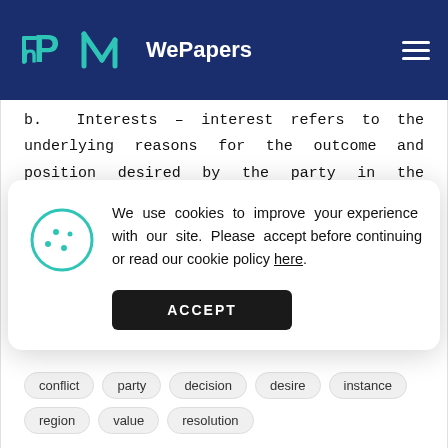WePapers
b. Interests – interest refers to the underlying reasons for the outcome and position desired by the party in the conflict. They are intangible motivations.
We use cookies to improve your experience with our site. Please accept before continuing or read our cookie policy here.
ACCEPT
conflict
party
decision
desire
instance
region
value
resolution